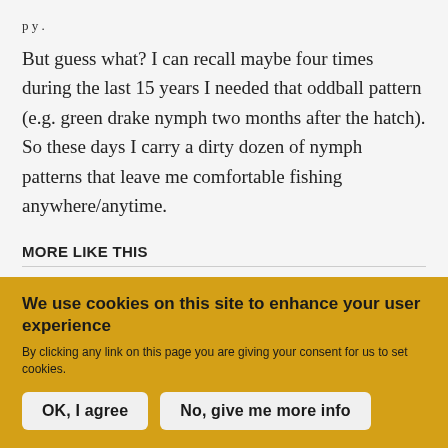p y .
But guess what? I can recall maybe four times during the last 15 years I needed that oddball pattern (e.g. green drake nymph two months after the hatch). So these days I carry a dirty dozen of nymph patterns that leave me comfortable fishing anywhere/anytime.
MORE LIKE THIS
We use cookies on this site to enhance your user experience
By clicking any link on this page you are giving your consent for us to set cookies.
OK, I agree
No, give me more info